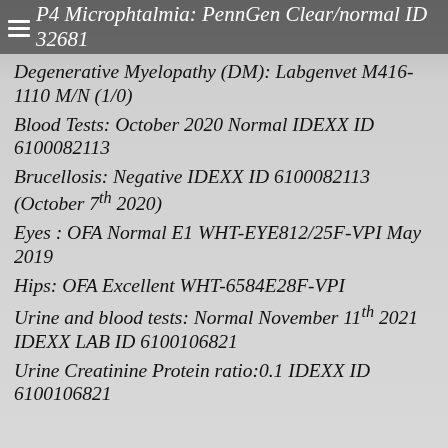P4 Microphtalmia: PennGen Clear/normal ID 32681
Degenerative Myelopathy (DM): Labgenvet M416-1110 M/N (1/0)
Blood Tests: October 2020 Normal IDEXX ID 6100082113
Brucellosis: Negative IDEXX ID 6100082113 (October 7th 2020)
Eyes : OFA Normal E1 WHT-EYE812/25F-VPI May 2019
Hips: OFA Excellent WHT-6584E28F-VPI
Urine and blood tests: Normal November 11th 2021 IDEXX LAB ID 6100106821
Urine Creatinine Protein ratio:0.1 IDEXX ID 6100106821